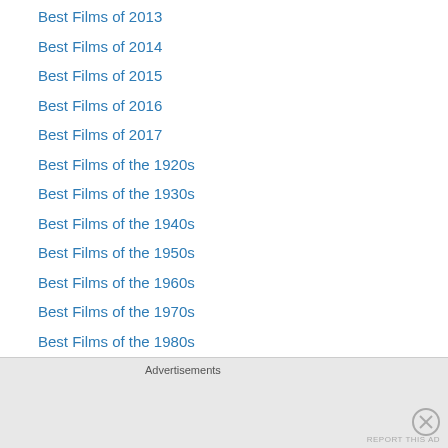Best Films of 2013
Best Films of 2014
Best Films of 2015
Best Films of 2016
Best Films of 2017
Best Films of the 1920s
Best Films of the 1930s
Best Films of the 1940s
Best Films of the 1950s
Best Films of the 1960s
Best Films of the 1970s
Best Films of the 1980s
Best Films of the 1990s
Best Films of the 2000s
Best Films Pre-1920
Blu-ray/DVD Reviews
Celluloid Flashbacks
Advertisements
REPORT THIS AD